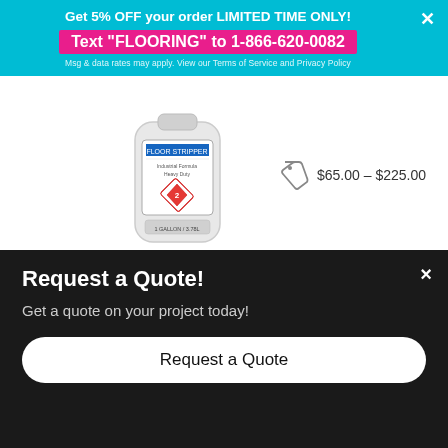Get 5% OFF your order LIMITED TIME ONLY!
Text "FLOORING" to 1-866-620-0082
Msg & data rates may apply. View our Terms of Service and Privacy Policy
[Figure (photo): White plastic jug of floor cleaner/stripper chemical product with label and hazard diamond]
$65.00 – $225.00
[Figure (photo): Four floor buffing/prep pads (black, teal, red, white) labeled: STRIPPING, CLEANING, BUFFING, POLISHING, plus two more pads (yellow, purple) partially visible below]
Buffing / Prep Pads
$10.00 – $24.99
Request a Quote!
Get a quote on your project today!
Request a Quote